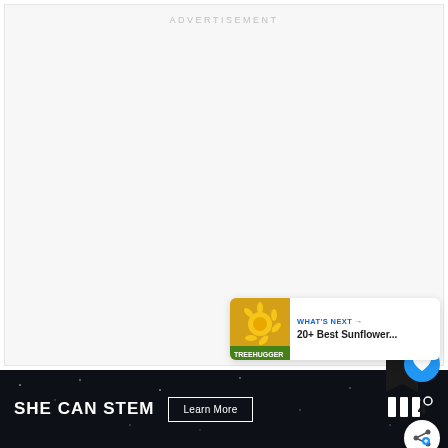ADVERTISEMENT
[Figure (other): Large blank advertisement area with light gray background]
[Figure (other): Social interaction UI: blue heart/like button circle, black bookmark shape, count '4', white share button circle]
4
[Figure (other): What's Next card with sunflower thumbnail image and text '20+ Best Sunflower...']
WHAT'S NEXT → 20+ Best Sunflower...
[Figure (other): Bottom dark banner: SHE CAN STEM with Learn More button and logo]
SHE CAN STEM
Learn More